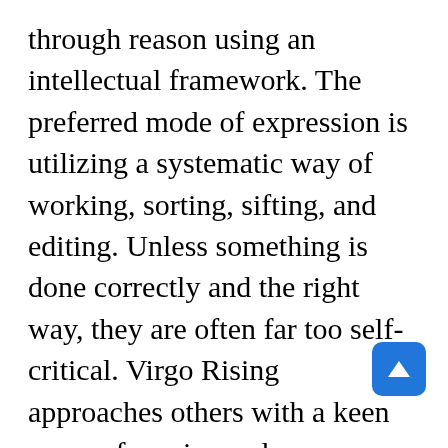through reason using an intellectual framework. The preferred mode of expression is utilizing a systematic way of working, sorting, sifting, and editing. Unless something is done correctly and the right way, they are often far too self-critical. Virgo Rising approaches others with a keen sense of service and comes across as being kind, helpful, and useful. Being modest in demeanor these people seek to improve situations and develop a positively efficient personality. Virgo Rising tends to comment on what's flawed, unworkable, 'needs seeing to' and in need of fixing. In fact, they like to sort things out, see to those little details and develop better